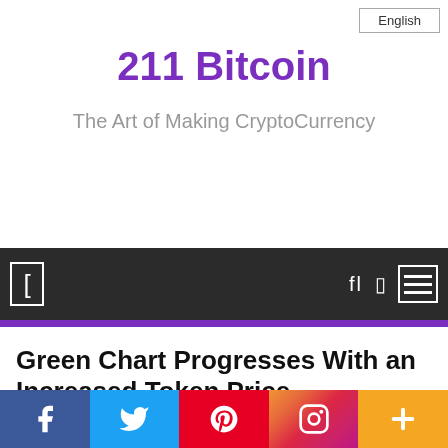English
211 Bitcoin
The Art of Making CryptoCurrency
[Figure (other): Dark navigation bar with hamburger menu icon, search and bookmark icons on the right, and a bracket icon on the left]
Green Chart Progresses With an Increased Token Price
January 16, 2022  Admin
[Figure (other): Social share bar with Facebook, Twitter, Pinterest, Instagram, and Plus buttons]